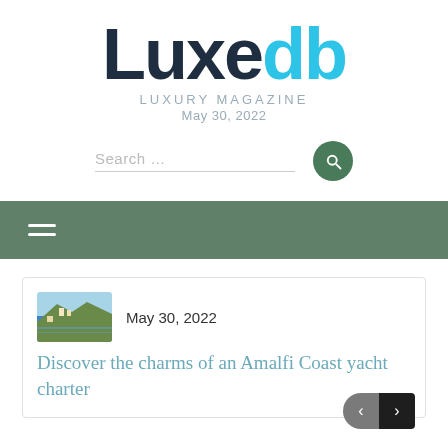[Figure (logo): Luxedb Luxury Magazine logo with 'Luxe' in dark navy and 'db' in cyan blue, followed by tagline 'LUXURY MAGAZINE' and date 'May 30, 2022']
Search ...
Navigation bar with hamburger menu icon
May 30, 2022
Discover the charms of an Amalfi Coast yacht charter